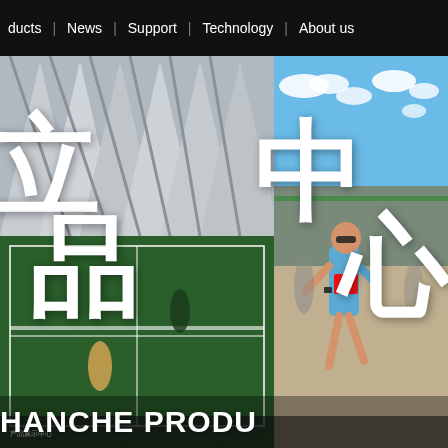ducts | News | Support | Technology | About us
[Figure (photo): Left panel: indoor tennis/badminton court with large triangular roof structure, players visible on green court below. Overlaid with large white Chinese characters.]
[Figure (photo): Right panel: outdoor running/triathlon athlete in blue jersey running near stadium on sunny day. Overlaid with large white Chinese characters.]
产品中心
SHANCHE PRODU